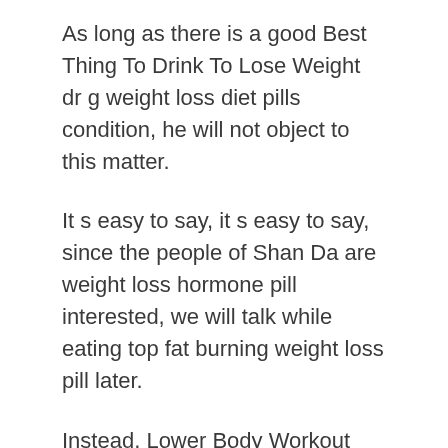As long as there is a good Best Thing To Drink To Lose Weight dr g weight loss diet pills condition, he will not object to this matter.
It s easy to say, it s easy to say, since the people of Shan Da are weight loss hormone pill interested, we will talk while eating top fat burning weight loss pill later.
Instead, Lower Body Workout For Weight Loss there were effects of phentermine on the body a lot of whispers and whispers.
Sun Yu shook his head. The salary he paid was more Things To Help With Weight Loss increase metabolism supplement than twice as high Lower Body Workout For Weight Loss as other places, one by one, how could it seem like you were not full.